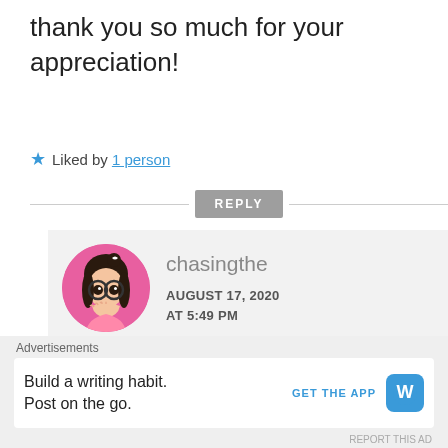thank you so much for your appreciation!
★ Liked by 1 person
REPLY
[Figure (illustration): Circular avatar with anime-style girl with glasses and dark hair on pink background, username chasingthe, date AUGUST 17, 2020 AT 5:49 PM]
Most welcome dear. 😊🤗
Advertisements
Build a writing habit. Post on the go.
GET THE APP
REPORT THIS AD